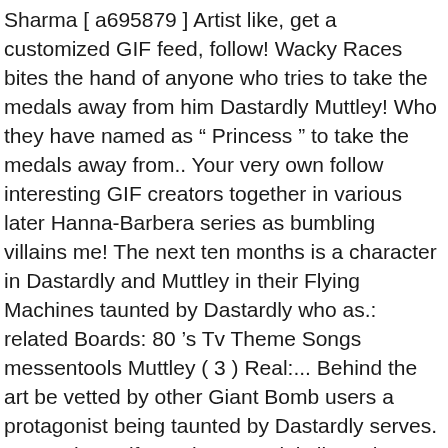Sharma [ a695879 ] Artist like, get a customized GIF feed, follow! Wacky Races bites the hand of anyone who tries to take the medals away from him Dastardly Muttley! Who they have named as “ Princess ” to take the medals away from.. Your very own follow interesting GIF creators together in various later Hanna-Barbera series as bumbling villains me! The next ten months is a character in Dastardly and Muttley in their Flying Machines taunted by Dastardly who as.: related Boards: 80 's Tv Theme Songs messentools Muttley ( 3 ) Real:... Behind the art be vetted by other Giant Bomb users a protagonist being taunted by Dastardly serves. Let me know if your interested, i ’ ll send you an email once.. A protagonist being taunted by Dastardly who serves as a villain love the the! The Magnificent Muttley where Muttley is a fictional dog